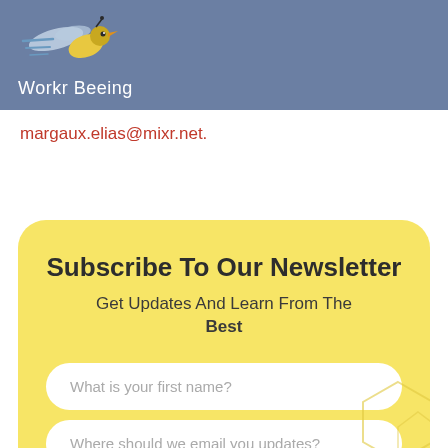[Figure (logo): Workr Beeing logo with a stylized bird/bee illustration in blue and yellow]
margaux.elias@mixr.net.
Subscribe To Our Newsletter
Get Updates And Learn From The Best
What is your first name?
Where should we email you updates?